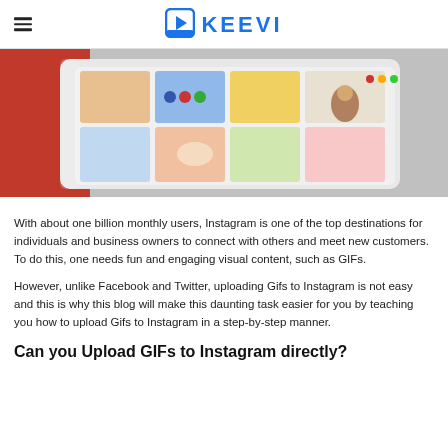KEEVI
[Figure (photo): Close-up photo of a smartphone or tablet displaying Instagram-like social media app with colorful post thumbnails, including images of a person, colorful graphic tiles, and social media UI elements.]
With about one billion monthly users, Instagram is one of the top destinations for individuals and business owners to connect with others and meet new customers. To do this, one needs fun and engaging visual content, such as GIFs.
However, unlike Facebook and Twitter, uploading Gifs to Instagram is not easy and this is why this blog will make this daunting task easier for you by teaching you how to upload Gifs to Instagram in a step-by-step manner.
Can you Upload GIFs to Instagram directly?